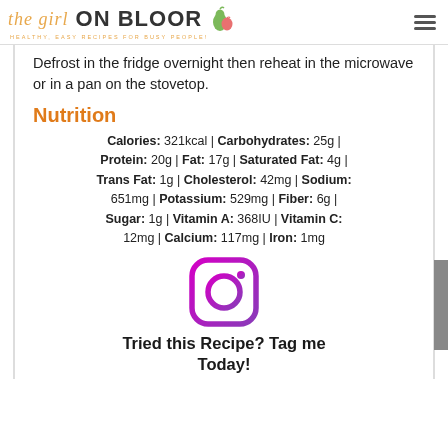the girl ON BLOOR — HEALTHY, EASY RECIPES FOR BUSY PEOPLE!
Defrost in the fridge overnight then reheat in the microwave or in a pan on the stovetop.
Nutrition
Calories: 321kcal | Carbohydrates: 25g | Protein: 20g | Fat: 17g | Saturated Fat: 4g | Trans Fat: 1g | Cholesterol: 42mg | Sodium: 651mg | Potassium: 529mg | Fiber: 6g | Sugar: 1g | Vitamin A: 368IU | Vitamin C: 12mg | Calcium: 117mg | Iron: 1mg
[Figure (logo): Instagram logo icon — rounded square with camera outline in purple/magenta]
Tried this Recipe? Tag me Today!